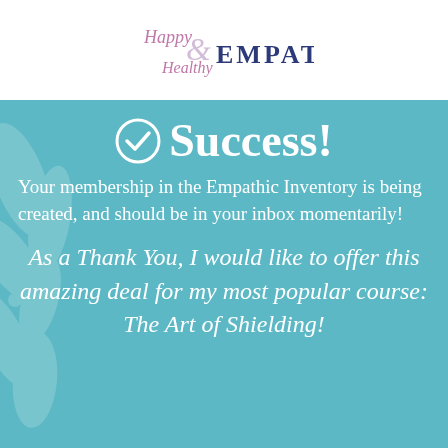[Figure (logo): Happy & Healthy Empath logo with script text and bold serif EMPATH text]
✓ Success!
Your membership in the Empathic Inventory is being created, and should be in your inbox momentarily!
As a Thank You, I would like to offer this amazing deal for my most popular course: The Art of Shielding!